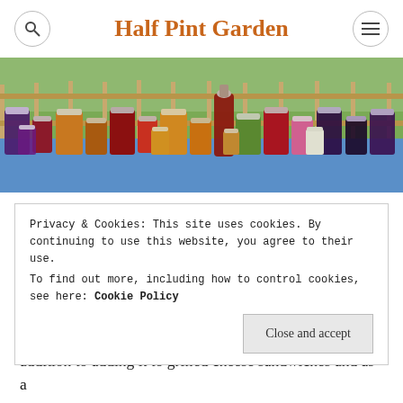Half Pint Garden
[Figure (photo): A row of many canning jars filled with various jams, jellies, and preserves in different colors (dark purple, amber, red, green, pink) arranged on a surface outdoors with a wooden fence and garden foliage in the background.]
After months of putting up jar after jar of jams and jellies, I head in to fall looking to make sure I have some preserves that
Privacy & Cookies: This site uses cookies. By continuing to use this website, you agree to their use.
To find out more, including how to control cookies, see here: Cookie Policy
addition to adding it to grilled cheese sandwiches and as a